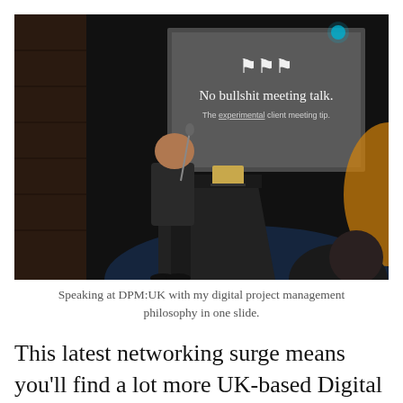[Figure (photo): A person speaking at a podium on a dark stage, with a projected slide behind them reading 'No bullshit meeting talk. The experimental client meeting tip.' The speaker stands at a black lectern with a laptop, in a dark venue with brick walls and blue lighting.]
Speaking at DPM:UK with my digital project management philosophy in one slide.
This latest networking surge means you'll find a lot more UK-based Digital Project Managers talking in places such as